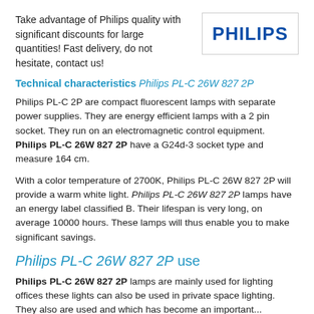Take advantage of Philips quality with significant discounts for large quantities! Fast delivery, do not hesitate, contact us!
[Figure (logo): Philips logo in bold dark blue text inside a bordered box]
Technical characteristics Philips PL-C 26W 827 2P
Philips PL-C 2P are compact fluorescent lamps with separate power supplies. They are energy efficient lamps with a 2 pin socket. They run on an electromagnetic control equipment. Philips PL-C 26W 827 2P have a G24d-3 socket type and measure 164 cm.
With a color temperature of 2700K, Philips PL-C 26W 827 2P will provide a warm white light. Philips PL-C 26W 827 2P lamps have an energy label classified B. Their lifespan is very long, on average 10000 hours. These lamps will thus enable you to make significant savings.
Philips PL-C 26W 827 2P use
Philips PL-C 26W 827 2P lamps are mainly used for lighting offices these lights can also be used in private space lighting. They also are used and which has become an important...